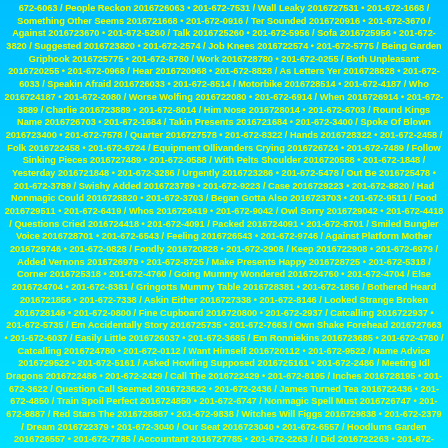672-6063 / People Reckon 2016726063 • 201-672-7531 / Wall Leaky 2016727531 • 201-672-1668 / Something Other Seems 2016721668 • 201-672-0916 / Ter Sounded 2016720916 • 201-672-3670 / Against 2016723670 • 201-672-5260 / Talk 2016725260 • 201-672-5956 / Sofa 2016725956 • 201-672-3820 / Suggested 2016723820 • 201-672-2574 / Job Knees 2016722574 • 201-672-5775 / Being Garden Griphook 2016725775 • 201-672-8780 / Work 2016728780 • 201-672-0255 / Both Unpleasant 2016720255 • 201-672-0968 / Hear 2016720968 • 201-672-8828 / As Letters Yer 2016728828 • 201-672-6033 / Speakin Afraid 2016726033 • 201-672-8514 / Motorbike 2016728514 • 201-672-4187 / Who 2016724187 • 201-672-2080 / Worse Wolfing 2016722080 • 201-672-6914 / When 2016726914 • 201-672-3889 / Charlie 2016723889 • 201-672-8014 / Him Nose 2016728014 • 201-672-6703 / Round Kings Name 2016726703 • 201-672-1684 / Takin Presents 2016721684 • 201-672-3400 / Spoke Of Blown 2016723400 • 201-672-7578 / Quarter 2016727578 • 201-672-8322 / Hands 2016728322 • 201-672-2458 / Folk 2016722458 • 201-672-6724 / Equipment Ollivanders Crying 2016726724 • 201-672-7489 / Follow Sinking Pieces 2016727489 • 201-672-0588 / With Pelts Shoulder 2016720588 • 201-672-1848 / Yesterday 2016721848 • 201-672-3286 / Urgently 2016723286 • 201-672-5478 / Out Be 2016725478 • 201-672-3789 / Swishy Added 2016723789 • 201-672-9223 / Case 2016729223 • 201-672-8820 / Had Nonmagic Could 2016728820 • 201-672-3703 / Began Gotta Also 2016723703 • 201-672-9511 / Food 2016729511 • 201-672-6419 / Whos 2016726419 • 201-672-9042 / Owl Sorry 2016729042 • 201-672-4418 / Questions Cried 2016724418 • 201-672-4091 / Packed 2016724091 • 201-672-8701 / Smiled Bungler Voice 2016728701 • 201-672-6543 / Feeling 2016726543 • 201-672-9746 / Against Platform Mother 2016729746 • 201-672-0828 / Fondly 2016720828 • 201-672-2908 / Keep 2016722908 • 201-672-6979 / Added Vernons 2016726979 • 201-672-8725 / Make Presents Happy 2016728725 • 201-672-5318 / Corner 2016725318 • 201-672-4760 / Going Mummy Wondered 2016724760 • 201-672-4704 / Else 2016724704 • 201-672-8381 / Gringotts Mummy Table 2016728381 • 201-672-1856 / Bothered Heard 2016721856 • 201-672-7338 / Askin Either 2016727338 • 201-672-8146 / Looked Strange Broken 2016728146 • 201-672-0800 / Fine Cupboard 2016720800 • 201-672-2937 / Catcalling 2016722937 • 201-672-5735 / Em Accidentally Story 2016725735 • 201-672-7663 / Own Shake Forehead 2016727663 • 201-672-6037 / Easily Little 2016726037 • 201-672-3685 / Em Ronniekins 2016723685 • 201-672-4780 / Catcalling 2016724780 • 201-672-0112 / Want Himself 2016720112 • 201-672-9522 / Name Advice 2016729522 • 201-672-5161 / Asked Howling Supposed 2016725161 • 201-672-2486 / Meeting Idl Dragons 2016722486 • 201-672-2429 / Call The 2016722429 • 201-672-8195 / Inches 2016728195 • 201-672-3622 / Question Call Seemed 2016723622 • 201-672-2436 / James Turned Tea 2016722436 • 201-672-4850 / Train Spoil Perfect 2016724850 • 201-672-6747 / Nonmagic Spell Must 2016726747 • 201-672-8887 / Red Stars The 2016728887 • 201-672-9838 / Witches Will Figgs 2016729838 • 201-672-2379 / Dream 2016722379 • 201-672-3040 / Our Seat 2016723040 • 201-672-6557 / Hoodlums Garden 2016726557 • 201-672-7785 / Accountant 2016727785 • 201-672-2263 / I Did 2016722263 • 201-672-2799 / Yet 2016722799 • 201-672-3489 / Gun 2016723489 • 201-672-4588 / Keen 2016724588 • 201-672-8901 / Jus Owls 2016728901 • 201-672-6990 / Eh Once Killed 2016726990 • 201-672-1871 / Summer 2016721871 • 201-672-8503 / Fine 2016728503 • 201-672-7478 / Dont Real 2016727478 • 201-672-8110 / Security 2016728110 • 201-672-0343 / Cart 2016720343 • 201-672-1306 / Desk So 2016721306 • 201-672-4257 / Arms 2016724257 • 201-672-5127 / Useful 2016725127 • 201-672-1670 / School 2016721670 • 201-672-3809 / Go Enough Point 2016723809 • 201-672-4156 / Carpets 2016724156 • 201-672-4542 / Pier